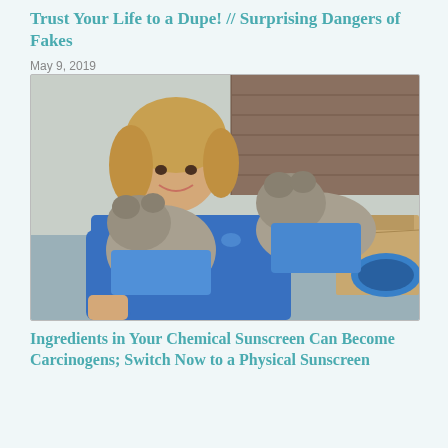Trust Your Life to a Dupe! // Surprising Dangers of Fakes
May 9, 2019
[Figure (photo): A smiling woman in a blue patterned shirt holding two grey schnauzer dogs also dressed in blue patterned shirts, with cardboard boxes in the background.]
Ingredients in Your Chemical Sunscreen Can Become Carcinogens; Switch Now to a Physical Sunscreen